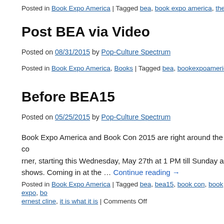Posted in Book Expo America | Tagged bea, book expo america, the book co…
Post BEA via Video
Posted on 08/31/2015 by Pop-Culture Spectrum
Posted in Book Expo America, Books | Tagged bea, bookexpoamerica, books…
Before BEA15
Posted on 05/25/2015 by Pop-Culture Spectrum
Book Expo America and Book Con 2015 are right around the corner, starting this Wednesday, May 27th at 1 PM till Sunday a… shows. Coming in at the … Continue reading →
Posted in Book Expo America | Tagged bea, bea15, book con, book expo, bo… ernest cline, it is what it is | Comments Off